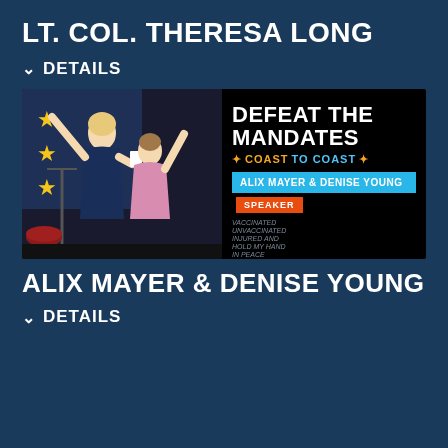LT. COL. THERESA LONG
DETAILS
[Figure (photo): Event photo showing two women celebrating on stage with arms raised, next to a 'Defeat the Mandates Coast to Coast' event graphic featuring Alix Mayer & Denise Young as speakers]
ALIX MAYER & DENISE YOUNG
DETAILS